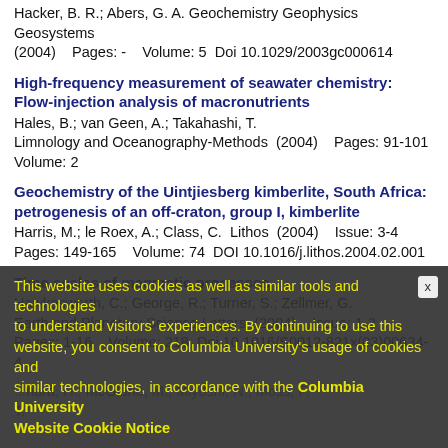Hacker, B. R.; Abers, G. A.  Geochemistry Geophysics Geosystems (2004)    Pages: -    Volume: 5  Doi 10.1029/2003gc000614
High-frequency measurement of seawater chemistry: Flow-injection analysis of macronutrients
Hales, B.; van Geen, A.; Takahashi, T.
Limnology and Oceanography-Methods  (2004)    Pages: 91-101  Volume: 2
Geochemistry of the Uintjiesberg kimberlite, South Africa: petrogenesis of an off-craton, group I, kimberlite
Harris, M.; le Roex, A.; Class, C.  Lithos  (2004)    Issue: 3-4  Pages: 149-165    Volume: 74  DOI 10.1016/j.lithos.2004.02.001
Time scales of magmatic processes
Hawkesworth, C.; George, R.; Turner, S.; Zellmer, G.
Earth and Planetary Science Letters  (2004)    Issue: 1-2  Pages: 1-16    Volume: 218  Doi 10.1016/S0012-821x(03)00634-4
...nara, H.; McGlone, M.; Miyoshi, N.; Moss, P. T.
This website uses cookies as well as similar tools and technologies to understand visitors' experiences. By continuing to use this website, you consent to Columbia University's usage of cookies and similar technologies, in accordance with the Columbia University Website Cookie Notice